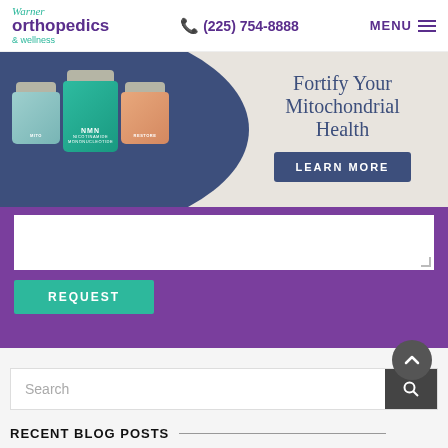Warner Orthopedics & Wellness | (225) 754-8888 | MENU
[Figure (photo): Banner advertisement for NMN supplement jars with text 'Fortify Your Mitochondrial Health' and a 'LEARN MORE' button on dark blue/cream background]
[Figure (screenshot): Purple form section with a white textarea and a teal REQUEST button]
[Figure (screenshot): Search bar with 'Search' placeholder text and a dark search icon button]
RECENT BLOG POSTS
THE DIFFERENCE BETWEEN TYPE 1 AND TYPE...